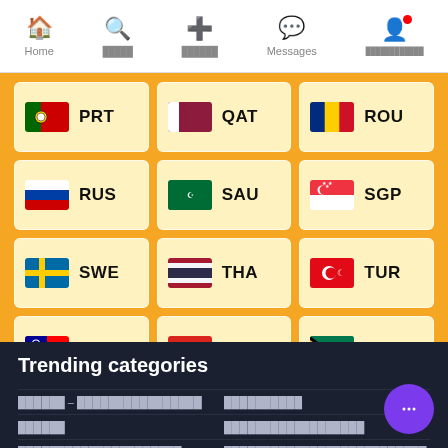Home | Search | Post | Messages | Profile
[Figure (infographic): Grid of country flag buttons on orange background: PRT (Portugal), QAT (Qatar), ROU (Romania), RUS (Russia), SAU (Saudi Arabia), SGP (Singapore), SWE (Sweden), THA (Thailand), TUR (Turkey), TWN (Taiwan), VNM (Vietnam), ZAF (South Africa), USA (United States)]
Trending categories
xxxxxxx – xxxxxxxxxxxxxxxx
xxxxxxxxxx
xxxxxx
xxxxxxxxxxxxxxxxxx
xxxxxxxxxxxxxxxxxxxxx
xxxxxxxxxxxxxxxxxxxxxxxxxx